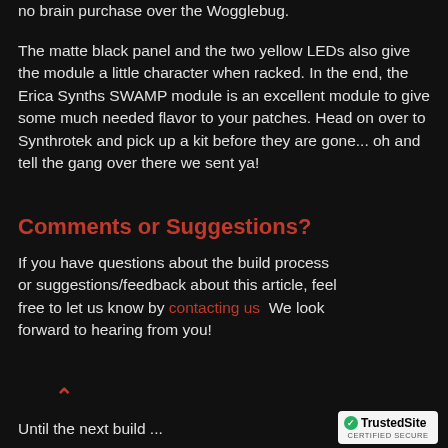no brain purchase over the Wogglebug.
The matte black panel and the two yellow LEDs also give the module a little character when racked. In the end, the Erica Synths SWAMP module is an excellent module to give some much needed flavor to your patches. Head on over to Synthrotek and pick up a kit before they are gone... oh and tell the gang over there we sent ya!
Comments or Suggestions?
If you have questions about the build process or suggestions/feedback about this article, feel free to let us know by contacting us  We look forward to hearing from you!
Until the next build ...